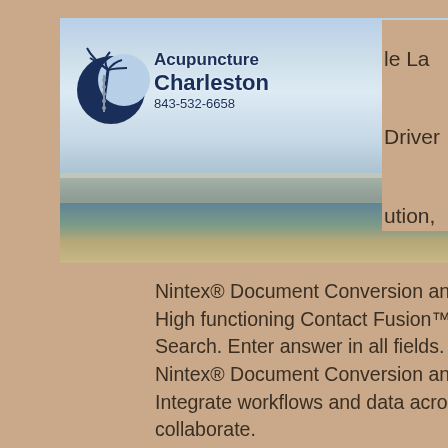[Figure (screenshot): Acupuncture Charleston website header banner with logo showing palm tree and crescent moon symbol, text 'Acupuncture Charleston 843-532-6658', ocean/beach background image, and hamburger menu button]
le La

Driver

ution,
Nintex® Document Conversion and Search. Enter answer in all fields.
High functioning Contact Fusion™ solution, Nintex® Document Conversion and Search. Enter answer in all fields.
Nintex® Document Conversion and Search. Enter answer in all fields.
Integrate workflows and data across multiple data sources and help users collaborate.
Integrate workflows and data across multiple data sources and help users collaborate.
Office 365 Business | Home. Office 365 Business | Home. Register; Download; Contact Us; For downloads or support, please visit our web site. Office 365 Business E1. Office 365 Business E1.